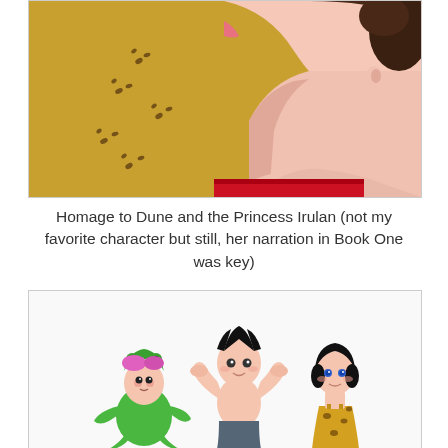[Figure (illustration): Illustration showing a stylized woman's neck and lower face in profile, with pink skin tones and dark hair, against an olive/golden background with small dark bird-like footprint marks scattered across it. A red element is visible at the bottom left.]
Homage to Dune and the Princess Irulan (not my favorite character but still, her narration in Book One was key)
[Figure (illustration): Illustration showing three cartoon characters: on the left a small child wearing a green frog costume with pink hair peeking out; in the center a shirtless boy with a black pointed hairstyle flexing both arms (resembling Astro Boy); on the right a girl with black hair wearing a leopard-print dress.]